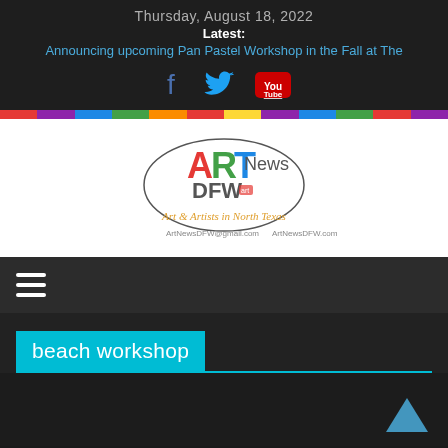Thursday, August 18, 2022
Latest:
Announcing upcoming Pan Pastel Workshop in the Fall at The
[Figure (logo): Social media icons: Facebook, Twitter, YouTube]
[Figure (logo): ART News DFW logo — Art & Artists in North Texas. ArtNewsDFW@gmail.com  ArtNewsDFW.com]
[Figure (infographic): Hamburger menu icon (three horizontal lines)]
beach workshop